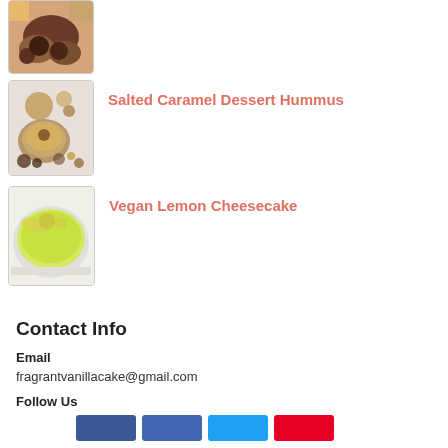[Figure (photo): Food photo showing chocolate dessert on plates with colorful background]
[Figure (photo): Photo of salted caramel dessert hummus in a bowl with toppings]
Salted Caramel Dessert Hummus
[Figure (photo): Photo of a vegan lemon cheesecake on a white plate, yellow/green colored]
Vegan Lemon Cheesecake
Contact Info
Email
fragrantvanillacake@gmail.com
Follow Us